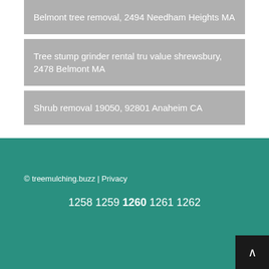Belmont tree removal, 2494 Needham Heights MA
Tree stump grinder rental tru value shrewsbury, 2478 Belmont MA
Shrub removal 19050, 92801 Anaheim CA
© treemulching.buzz | Privacy
1258 1259 1260 1261 1262